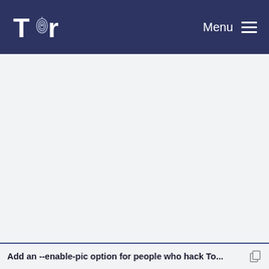Tor — Menu
[Figure (other): Large empty light gray content area with left blue vertical stripe and right thin stripe, representing a webpage screenshot with blank main content area]
Add an --enable-pic option for people who hack To...